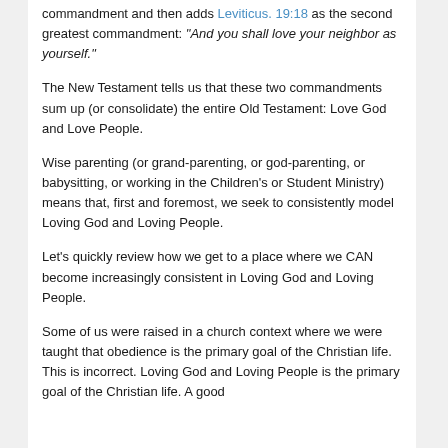commandment and then adds Leviticus. 19:18 as the second greatest commandment: "And you shall love your neighbor as yourself."
The New Testament tells us that these two commandments sum up (or consolidate) the entire Old Testament: Love God and Love People.
Wise parenting (or grand-parenting, or god-parenting, or babysitting, or working in the Children's or Student Ministry) means that, first and foremost, we seek to consistently model Loving God and Loving People.
Let's quickly review how we get to a place where we CAN become increasingly consistent in Loving God and Loving People.
Some of us were raised in a church context where we were taught that obedience is the primary goal of the Christian life. This is incorrect. Loving God and Loving People is the primary goal of the Christian life. A good